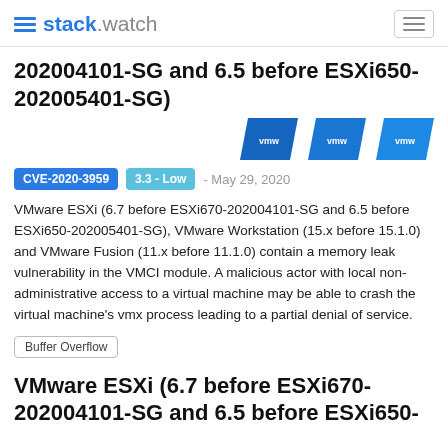stack.watch
202004101-SG and 6.5 before ESXi650-202005401-SG)
[Figure (logo): Three VMware logo badges in blue]
CVE-2020-3959  3.3 - Low  - May 29, 2020
VMware ESXi (6.7 before ESXi670-202004101-SG and 6.5 before ESXi650-202005401-SG), VMware Workstation (15.x before 15.1.0) and VMware Fusion (11.x before 11.1.0) contain a memory leak vulnerability in the VMCI module. A malicious actor with local non-administrative access to a virtual machine may be able to crash the virtual machine's vmx process leading to a partial denial of service.
Buffer Overflow
VMware ESXi (6.7 before ESXi670-202004101-SG and 6.5 before ESXi650-